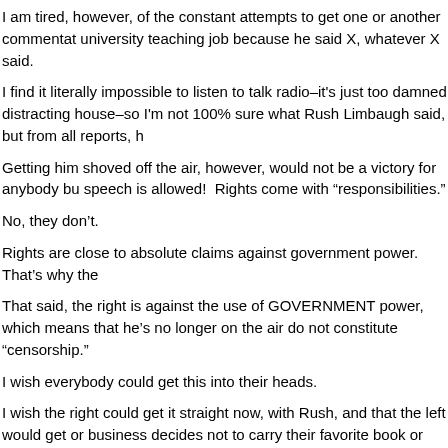I am tired, however, of the constant attempts to get one or another commentat university teaching job because he said X, whatever X said.
I find it literally impossible to listen to talk radio–it's just too damned distracting house–so I'm not 100% sure what Rush Limbaugh said, but from all reports, h
Getting him shoved off the air, however, would not be a victory for anybody bu speech is allowed!  Rights come with “responsibilities.”
No, they don’t.
Rights are close to absolute claims against government power.  That's why the
That said, the right is against the use of GOVERNMENT power, which means that he's no longer on the air do not constitute “censorship.”
I wish everybody could get this into their heads.
I wish the right could get it straight now, with Rush, and that the left would get or business decides not to carry their favorite book or magazine.
And yes, I am very close to the grand old tradition of "a pox on both their hous
That said, the local political landscape here is very odd.
By local I mean very, very local–school board, probate judge,  first selectman.